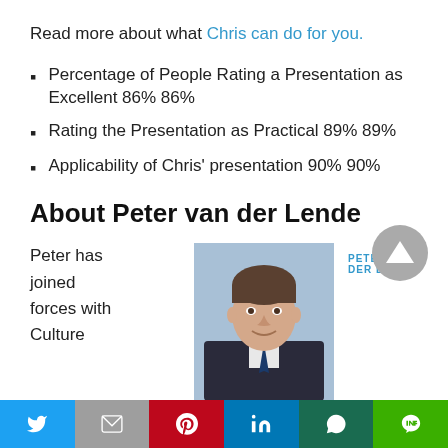Read more about what Chris can do for you.
Percentage of People Rating a Presentation as Excellent 86% 86%
Rating the Presentation as Practical 89% 89%
Applicability of Chris' presentation 90% 90%
About Peter van der Lende
[Figure (photo): Portrait photo of Peter van der Lende, a middle-aged man in a suit, smiling, with a light blue background]
PETER VAN DER LENDE
Peter has joined forces with Culture